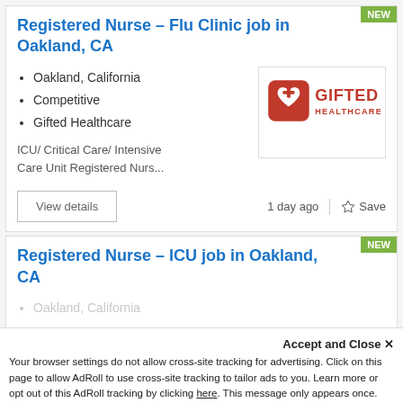Registered Nurse – Flu Clinic job in Oakland, CA
Oakland, California
Competitive
Gifted Healthcare
ICU/ Critical Care/ Intensive Care Unit Registered Nurs...
[Figure (logo): Gifted Healthcare logo — red rounded square with a white heart and plus symbol, text GIFTED HEALTHCARE in red]
1 day ago
Save
Registered Nurse – ICU job in Oakland, CA
Oakland, California
Accept and Close ✕
Your browser settings do not allow cross-site tracking for advertising. Click on this page to allow AdRoll to use cross-site tracking to tailor ads to you. Learn more or opt out of this AdRoll tracking by clicking here. This message only appears once.